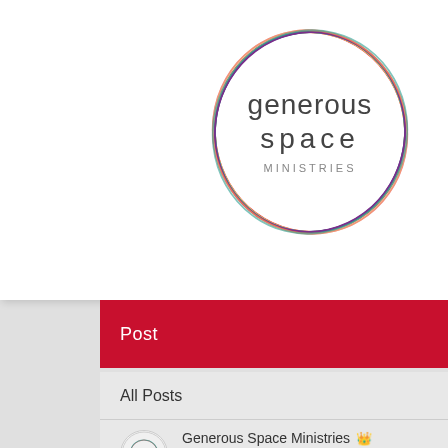[Figure (logo): Generous Space Ministries circular rainbow logo with text 'generous space MINISTRIES' inside]
[Figure (screenshot): Website navigation screenshot showing red Post bar with search icon, All Posts dropdown row, and blog post entry by Generous Space Ministries admin dated Dec 16, 2017, 2 min read]
Advent 3 ~ Elizabeth: